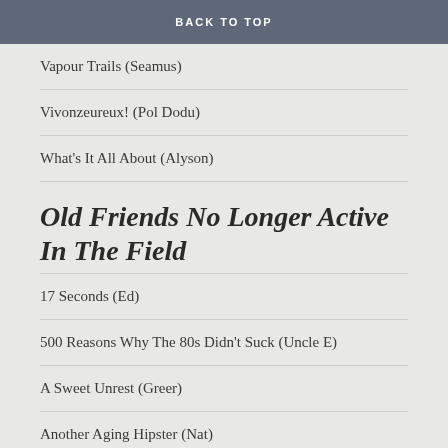To Die By Your Side (Coxon)
BACK TO TOP
Vapour Trails (Seamus)
Vivonzeureux! (Pol Dodu)
What's It All About (Alyson)
Old Friends No Longer Active In The Field
17 Seconds (Ed)
500 Reasons Why The 80s Didn't Suck (Uncle E)
A Sweet Unrest (Greer)
Another Aging Hipster (Nat)
Condemned to Rock'n'Roll
Consolation Prizes (Brian)
Conventional Records (Andrea)